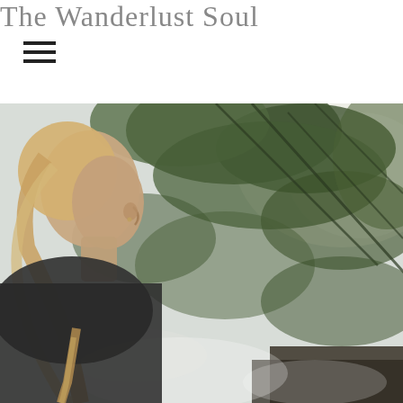The Wanderlust Soul
[Figure (photo): A woman with blonde hair in profile view looking to the right, surrounded by lush green pine/fern trees with bright light filtering through. She is wearing a dark top and the scene has a misty, outdoor natural atmosphere.]